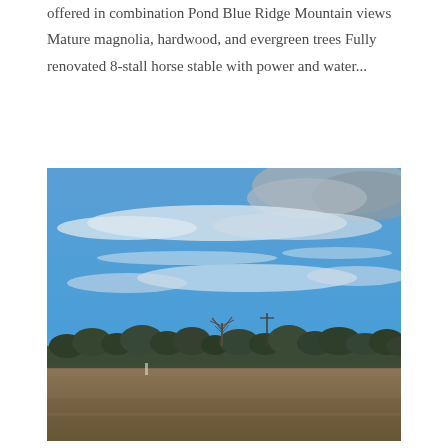offered in combination Pond Blue Ridge Mountain views Mature magnolia, hardwood, and evergreen trees Fully renovated 8-stall horse stable with power and water...
[Figure (photo): Outdoor landscape photo showing a wide open field or pasture under a large blue sky with scattered white clouds. In the middle distance there is a treeline with bare and evergreen trees, and distant hills or mountains visible on the horizon. The foreground shows brown dried grass or soil.]